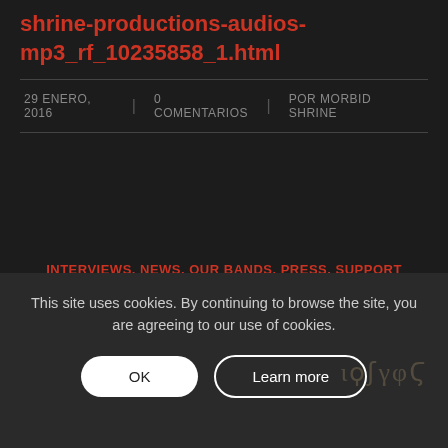shrine-productions-audios-mp3_rf_10235858_1.html
29 ENERO, 2016 | 0 COMENTARIOS | POR MORBID SHRINE
INTERVIEWS, NEWS, OUR BANDS, PRESS, SUPPORT
BRIARGH «EBOROS» IS HERE!
This site uses cookies. By continuing to browse the site, you are agreeing to our use of cookies.